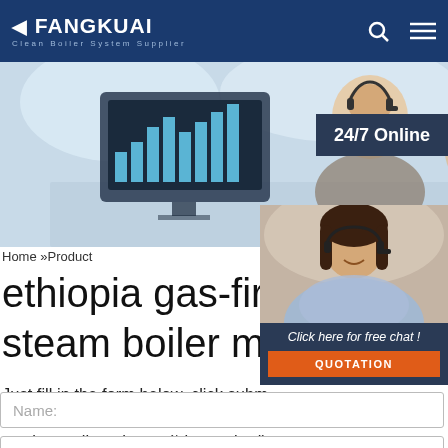FANGKUAI Clean Boiler System Supplier
[Figure (photo): Hero banner with woman wearing headset at computer with chart on screen, and customer service representative photo overlay with '24/7 Online' badge]
Home »Product
ethiopia gas-fired ve steam boiler mate
Just fill in the form below, click subm get the price list, and we will contact one working day. Please also feel free to contact us via email or phone. (* is required).
Click here for free chat !
QUOTATION
Name:
Email: